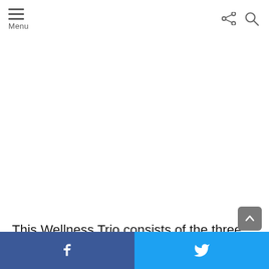Menu
This Wellness Trio consists of the three main products from Cosmos Vita's selection of delicious gummy vitamins – Beaming (with vitamin D3), Gutsy (with
Facebook share | Twitter share